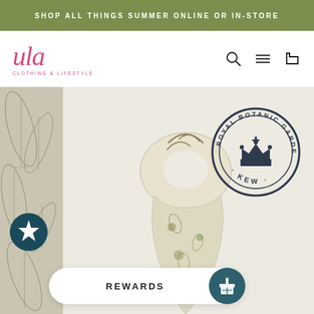SHOP ALL THINGS SUMMER ONLINE OR IN-STORE
[Figure (logo): ula Clothing & Lifestyle logo in pink script with subtitle]
[Figure (infographic): Website navigation bar with search, menu, and cart icons]
[Figure (photo): Product photo: botanical print scarf styled on a mannequin, with Royal Botanic Gardens Kew stamp overlay, star badge, and botanical illustration sidebar strip]
REWARDS